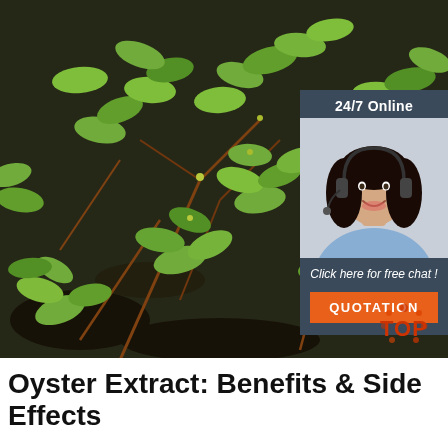[Figure (photo): Close-up photograph of green succulent low-growing plants with small rounded leaves on dark soil, resembling purslane or similar ground cover]
[Figure (infographic): Chat widget overlay with dark navy background showing '24/7 Online' text, a photo of a smiling female customer service agent with headset, italic text 'Click here for free chat !', and an orange button labeled 'QUOTATION']
[Figure (logo): Circular 'TOP' badge in orange/red tones at bottom right of main photo]
Oyster Extract: Benefits & Side Effects